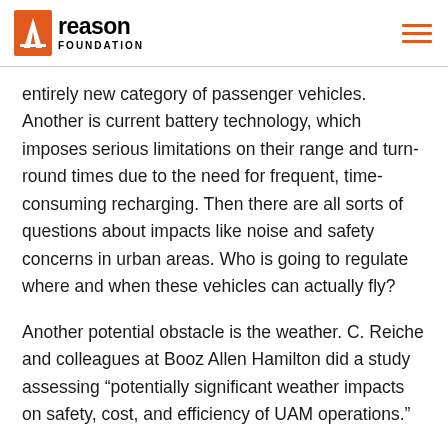Reason Foundation
entirely new category of passenger vehicles. Another is current battery technology, which imposes serious limitations on their range and turn-round times due to the need for frequent, time-consuming recharging. Then there are all sorts of questions about impacts like noise and safety concerns in urban areas. Who is going to regulate where and when these vehicles can actually fly?
Another potential obstacle is the weather. C. Reiche and colleagues at Booz Allen Hamilton did a study assessing “potentially significant weather impacts on safety, cost, and efficiency of UAM operations.”